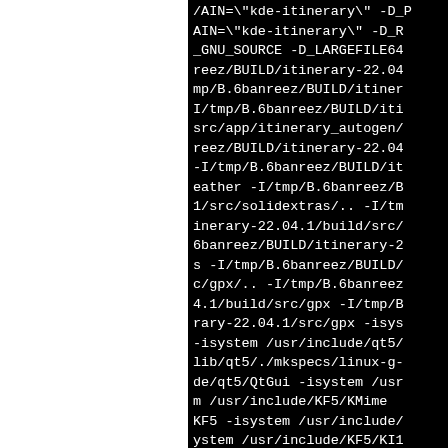AIN="kde-itinerary" -D_G
_GNU_SOURCE -D_LARGEFILE64
reez/BUILD/itinerary-22.04
mp/B.6banreez/BUILD/itiner
I/tmp/B.6banreez/BUILD/iti
src/app/itinerary_autogen/
reez/BUILD/itinerary-22.04
-I/tmp/B.6banreez/BUILD/it
eather -I/tmp/B.6banreez/B
1/src/solidextras/.. -I/tm
inerary-22.04.1/build/src/
6banreez/BUILD/itinerary-2
s -I/tmp/B.6banreez/BUILD/
c/gpx/.. -I/tmp/B.6banreez
4.1/build/src/gpx -I/tmp/B
rary-22.04.1/src/gpx -isys
-isystem /usr/include/qt5/
lib/qt5/./mkspecs/linux-g-
de/qt5/QtGui -isystem /usr
m /usr/include/KF5/KMime
KF5 -isystem /usr/include/
ystem /usr/include/KF5/KI1
ude/KF5/KI18nLocaleData -i
F5/KCo...